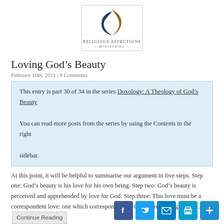[Figure (logo): Religious Affections Ministries logo: blue and gold flame/cross symbol above text 'RELIGIOUS AFFECTIONS' with a decorative line beneath]
Loving God’s Beauty
February 16th, 2021 | 0 Comments
This entry is part 30 of 34 in the series Doxology: A Theology of God's Beauty

You can read more posts from the series by using the Contents in the right sidebar.
At this point, it will be helpful to summarise our argument in five steps. Step one: God’s beauty is his love for his own being. Step two: God’s beauty is perceived and apprehended by love for God. Step three: This love must be a correspondent love: one which corresponds with God’s love in degree and…  Continue Reading